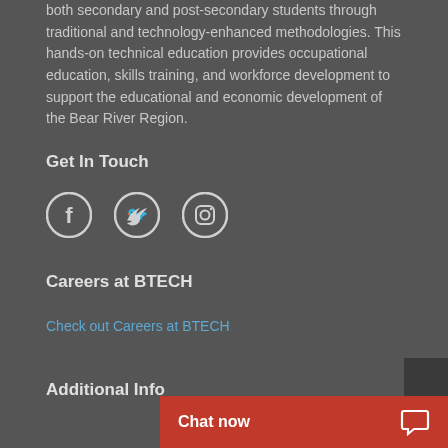both secondary and post-secondary students through traditional and technology-enhanced methodologies. This hands-on technical education provides occupational education, skills training, and workforce development to support the educational and economic development of the Bear River Region.
Get In Touch
[Figure (illustration): Three social media icons: Facebook, Twitter, Instagram, displayed as circular outlined icons]
Careers at BTECH
Check out Careers at BTECH
Additional Info
[Figure (screenshot): Orange chat bar at bottom with 'Chat now' text and chat bubble icon]